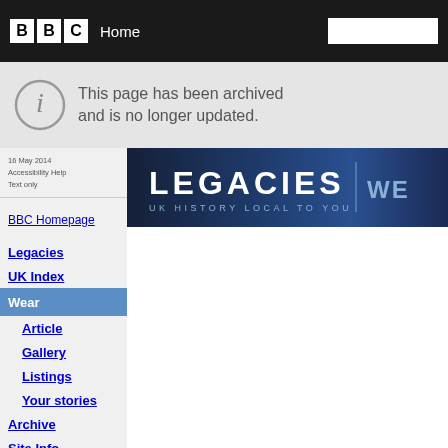BBC Home
This page has been archived and is no longer updated.
[Figure (screenshot): Legacies - UK History Local To You banner with 'Wear' text]
16 May 2014
Accessibility Help
Text only
BBC Homepage
Legacies
UK Index
Wear
Article
Gallery
Listings
Your stories
Archive
Site Info
BBC History
Where I Live